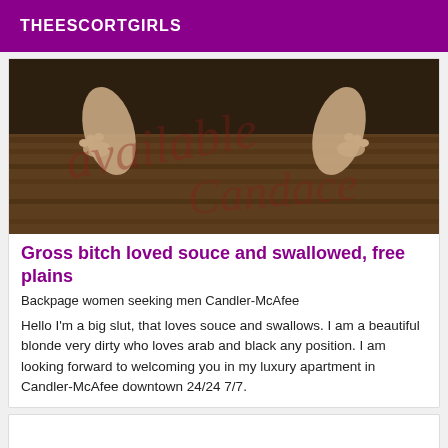THEESCORTGIRLS
[Figure (photo): Photo showing bare feet/legs on a dark wooden floor with a brown sofa, with a semi-transparent cursive watermark overlay]
Gross bitch loved souce and swallowed, free plains
Backpage women seeking men Candler-McAfee
Hello I'm a big slut, that loves souce and swallows. I am a beautiful blonde very dirty who loves arab and black any position. I am looking forward to welcoming you in my luxury apartment in Candler-McAfee downtown 24/24 7/7.